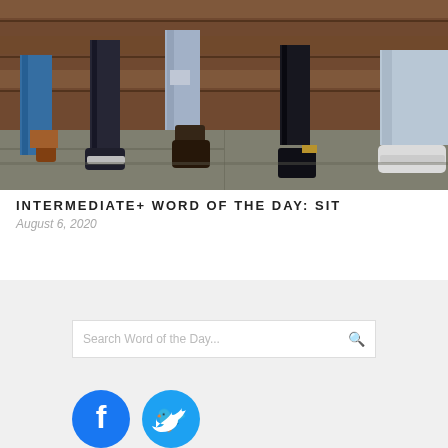[Figure (photo): Photo of several people sitting on a bench, showing their legs and feet with various shoes and jeans/denim clothing. Wooden planks visible in background. Stone/concrete floor below.]
INTERMEDIATE+ WORD OF THE DAY: SIT
August 6, 2020
Search Word of the Day...